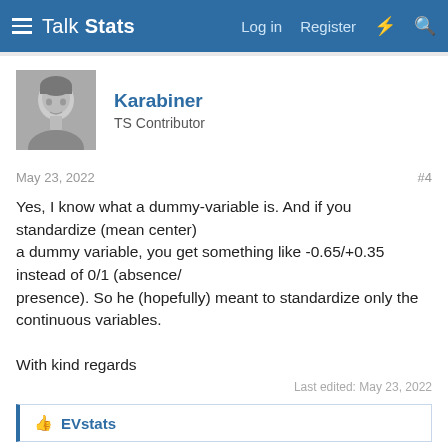Talk Stats — Log in   Register
Karabiner
TS Contributor
May 23, 2022   #4
Yes, I know what a dummy-variable is. And if you standardize (mean center)
a dummy variable, you get something like -0.65/+0.35 instead of 0/1 (absence/
presence). So he (hopefully) meant to standardize only the continuous variables.

With kind regards

Karabiner
Last edited: May 23, 2022
EVstats